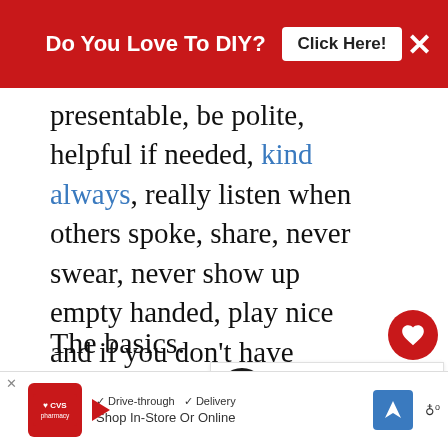Do You Love To DIY? Click Here!
presentable, be polite, helpful if needed, kind always, really listen when others spoke, share, never swear, never show up empty handed, play nice and if you don't have anything nice to say...well, you know the rest.
The basics.
The stuff they reinforce in kindergarten.
✓ Drive-through ✓ Delivery Shop In-Store Or Online